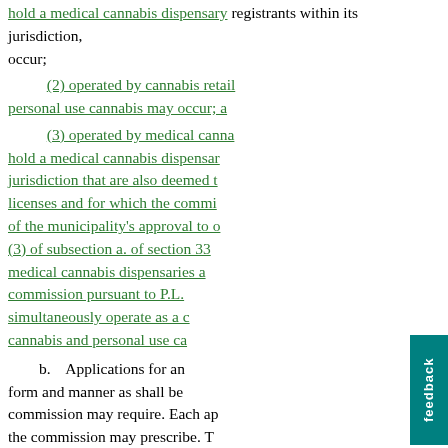hold a medical cannabis dispensary registrants within its jurisdiction, occur;
(2) operated by cannabis retail personal use cannabis may occur; a
(3) operated by medical canna hold a medical cannabis dispensar jurisdiction that are also deemed t licenses and for which the commi of the municipality's approval to o (3) of subsection a. of section 33 medical cannabis dispensaries a commission pursuant to P.L. simultaneously operate as a c cannabis and personal use ca
b. Applications for an form and manner as shall be commission may require. Each ap the commission may prescribe. T